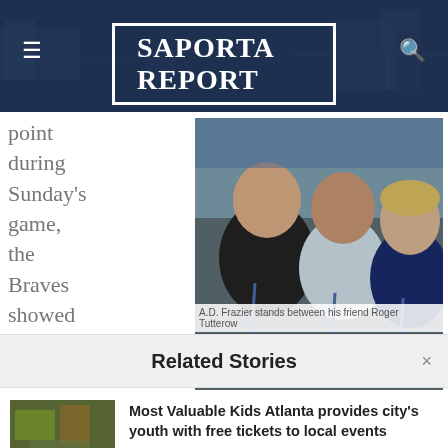SaportaReport
point during Sunday's game, the Braves showed a video
[Figure (photo): Three people posing at a baseball game stadium. A.D. Frazier stands between his friend Roger Tutterow and a woman.]
A.D. Frazier stands between his friend Roger Tutterow
Related Stories
[Figure (photo): Thumbnail image for related story about Most Valuable Kids Atlanta]
Most Valuable Kids Atlanta provides city's youth with free tickets to local events